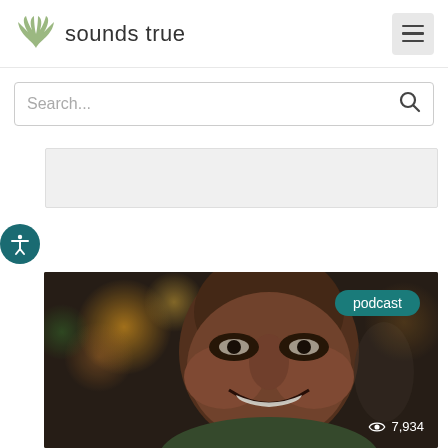[Figure (logo): Sounds True logo with stylized wings icon and text 'sounds true']
[Figure (screenshot): Hamburger menu button (three horizontal lines) in a gray rounded square]
Search...
[Figure (other): Gray empty content area/advertisement placeholder]
[Figure (other): Accessibility icon button - person with outstretched arms in teal circle]
[Figure (photo): Podcast thumbnail showing a smiling Black man against a blurred bokeh background. Badge reads 'podcast', view count shows 7,934]